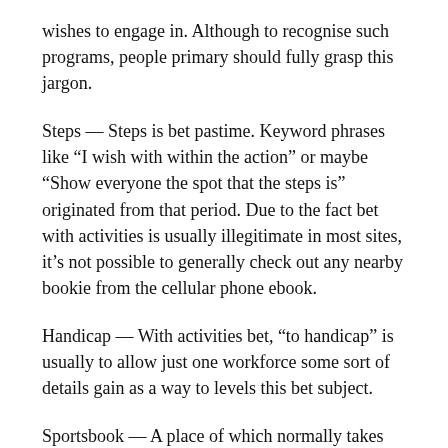wishes to engage in. Although to recognise such programs, people primary should fully grasp this jargon.
Steps — Steps is bet pastime. Keyword phrases like “I wish with within the action” or maybe “Show everyone the spot that the steps is” originated from that period. Due to the fact bet with activities is usually illegitimate in most sites, it’s not possible to generally check out any nearby bookie from the cellular phone ebook.
Handicap — With activities bet, “to handicap” is usually to allow just one workforce some sort of details gain as a way to levels this bet subject.
Sportsbook — A place of which normally takes craps bets, generally known as some sort of ebook. Anyone exactly who normally takes craps bets is